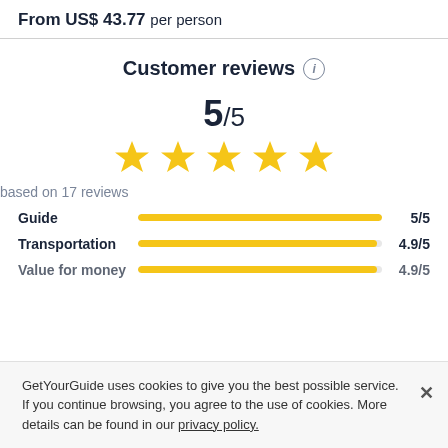From US$ 43.77 per person
Customer reviews
5/5
[Figure (other): Five yellow star rating icons]
based on 17 reviews
| Category | Bar | Score |
| --- | --- | --- |
| Guide |  | 5/5 |
| Transportation |  | 4.9/5 |
| Value for money |  | 4.9/5 |
GetYourGuide uses cookies to give you the best possible service. If you continue browsing, you agree to the use of cookies. More details can be found in our privacy policy.